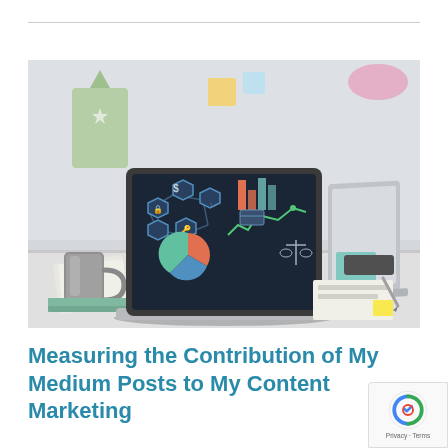[Figure (photo): A laptop on a desk displaying a dark analytics dashboard with charts, pie charts, and business icons. A coffee mug sits to the left. A second laptop is visible on the right. A green bag and sticky notes are in the background. Office/workspace setting with brick-look wall.]
Measuring the Contribution of My Medium Posts to My Content Marketing